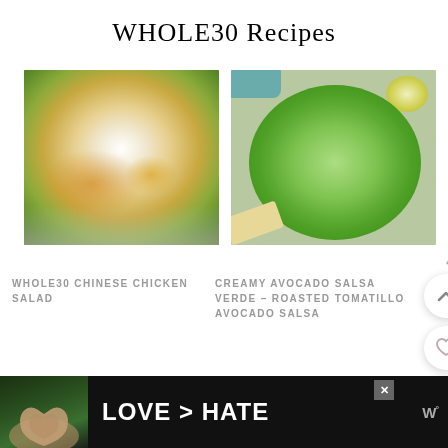WHOLE30 Recipes
[Figure (photo): Overhead photo of a colorful Chinese chicken salad with mandarin oranges, greens, cabbage, and a fork on a white plate]
[Figure (photo): Overhead photo of creamy green avocado salsa verde in a white bowl, with a lime wedge and tortilla chip alongside, on a light background with a small teal bowl visible]
WHOLE30 CHINESE CHICKEN SALAD
CREAMY AVOCADO SALSA VERDE – ROASTED TOMATILLO AVOCADO SALSA
43
[Figure (infographic): Floating action buttons: up-arrow chevron in white circle, heart icon in white circle, and search/magnifying glass icon in tan/gold circle]
[Figure (photo): Advertisement banner with dark background, hands forming heart shape photo on left, bold text LOVE > HATE in white, close X button, and stylized W logo on right]